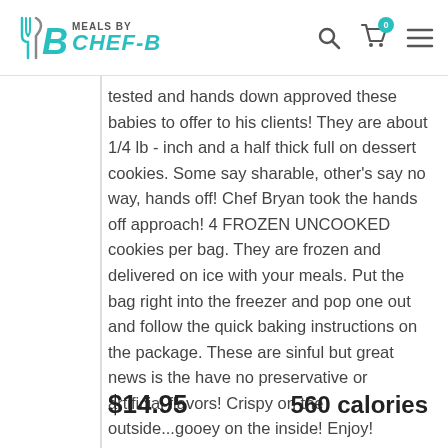Meals by Chef-B
tested and hands down approved these babies to offer to his clients! They are about 1/4 lb - inch and a half thick full on dessert cookies. Some say sharable, other's say no way, hands off! Chef Bryan took the hands off approach! 4 FROZEN UNCOOKED cookies per bag. They are frozen and delivered on ice with your meals. Put the bag right into the freezer and pop one out and follow the quick baking instructions on the package. These are sinful but great news is the have no preservative or artificial flavors! Crispy on the outside...gooey on the inside! Enjoy!
$14.95
560 calories